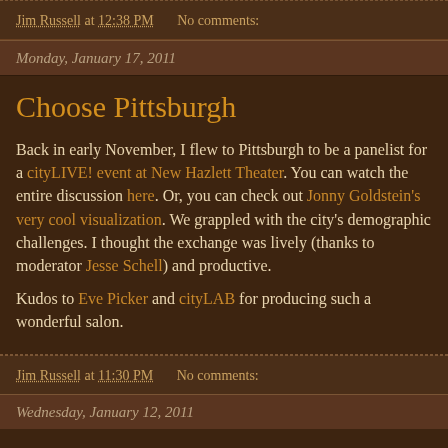Jim Russell at 12:38 PM   No comments:
Monday, January 17, 2011
Choose Pittsburgh
Back in early November, I flew to Pittsburgh to be a panelist for a cityLIVE! event at New Hazlett Theater. You can watch the entire discussion here. Or, you can check out Jonny Goldstein's very cool visualization. We grappled with the city's demographic challenges. I thought the exchange was lively (thanks to moderator Jesse Schell) and productive.

Kudos to Eve Picker and cityLAB for producing such a wonderful salon.
Jim Russell at 11:30 PM   No comments:
Wednesday, January 12, 2011